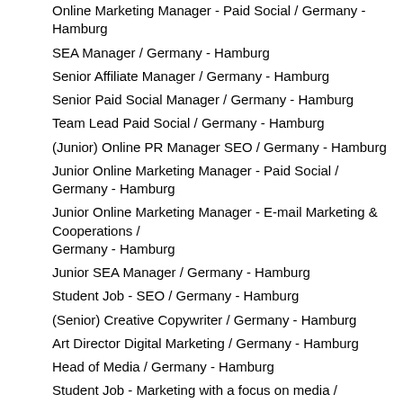Online Marketing Manager - Paid Social / Germany - Hamburg
SEA Manager / Germany - Hamburg
Senior Affiliate Manager / Germany - Hamburg
Senior Paid Social Manager / Germany - Hamburg
Team Lead Paid Social / Germany - Hamburg
(Junior) Online PR Manager SEO / Germany - Hamburg
Junior Online Marketing Manager - Paid Social / Germany - Hamburg
Junior Online Marketing Manager - E-mail Marketing & Cooperations / Germany - Hamburg
Junior SEA Manager / Germany - Hamburg
Student Job - SEO / Germany - Hamburg
(Senior) Creative Copywriter / Germany - Hamburg
Art Director Digital Marketing / Germany - Hamburg
Head of Media / Germany - Hamburg
Student Job - Marketing with a focus on media / Germany - Hamburg
Customer Service Employee - Inbound / Germany - Hamburg
Customer Service Employee (Dutch) - Inbound / Germany - Hamburg
More info: https://www.parship.de//jobs/index.htm